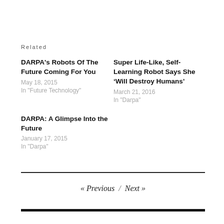Related
DARPA's Robots Of The Future Coming For You
May 18, 2015
In "Future Technology"
Super Life-Like, Self-Learning Robot Says She ‘Will Destroy Humans’
March 21, 2016
In "Darpa"
DARPA: A Glimpse Into the Future
January 17, 2015
In "Darpa"
« Previous / Next »